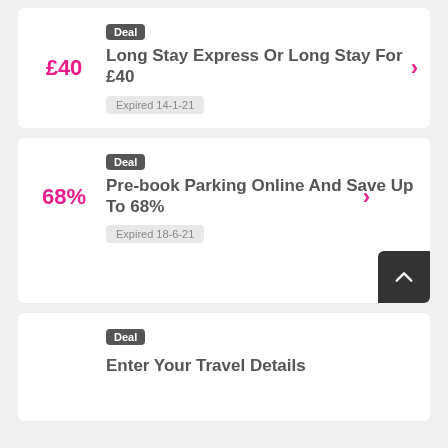Deal
Long Stay Express Or Long Stay For £40
Expired 14-1-21
Deal
Pre-book Parking Online And Save Up To 68%
Expired 18-6-21
Deal
Enter Your Travel Details